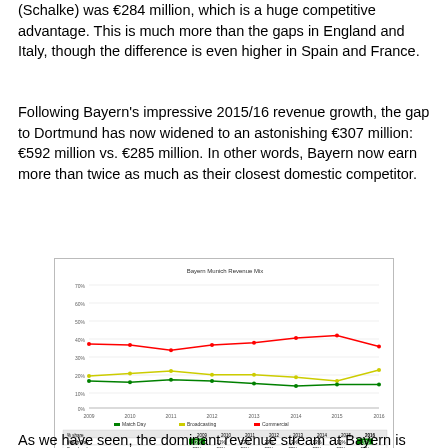(Schalke) was €284 million, which is a huge competitive advantage. This is much more than the gaps in England and Italy, though the difference is even higher in Spain and France.
Following Bayern's impressive 2015/16 revenue growth, the gap to Dortmund has now widened to an astonishing €307 million: €592 million vs. €285 million. In other words, Bayern now earn more than twice as much as their closest domestic competitor.
[Figure (line-chart): Bayern Munich Revenue Mix]
As we have seen, the dominant revenue stream at Bayern is